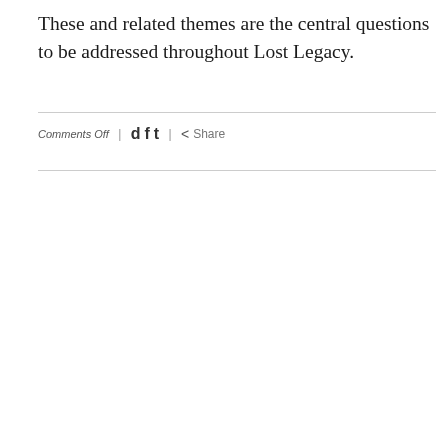These and related themes are the central questions to be addressed throughout Lost Legacy.
Comments Off | d f t | < Share